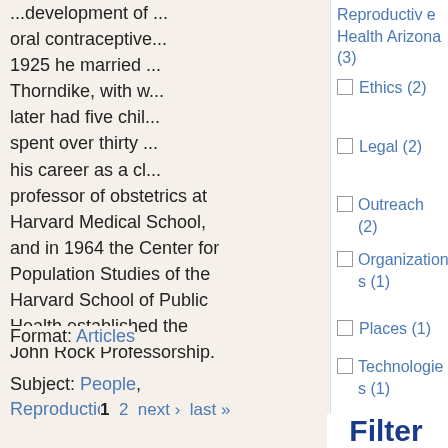...development of ... oral contraceptive... 1925 he married ... Thorndike, with w... later had five chil... spent over thirty ... his career as a cl... professor of obstetrics at Harvard Medical School, and in 1964 the Center for Population Studies of the Harvard School of Public Health established the John Rock Professorship.
Reproductive Health Arizona (3)
Ethics (2)
Legal (2)
Outreach (2)
Organizations (1)
Places (1)
Technologies (1)
Format: Articles
Subject: People, Reproduction
1  2  next ›  last »
Filter